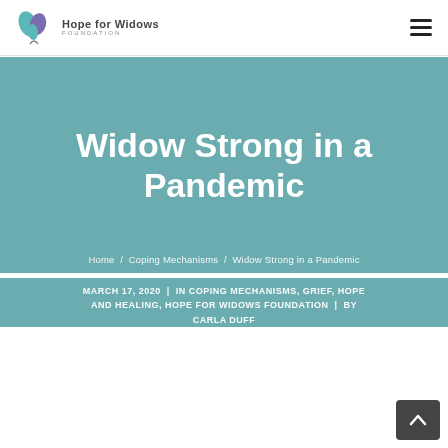Hope for Widows Foundation
Widow Strong in a Pandemic
Home / Coping Mechanisms / Widow Strong in a Pandemic
MARCH 17, 2020 | IN COPING MECHANISMS, GRIEF, HOPE AND HEALING, HOPE FOR WIDOWS FOUNDATION | BY CARLA DUFF
Right now, America is facing a pandemic. And tha